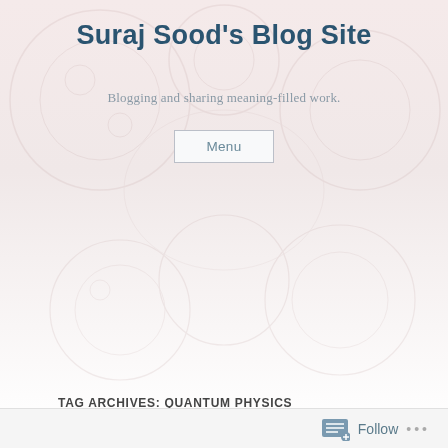Suraj Sood's Blog Site
Blogging and sharing meaning-filled work.
Menu
TAG ARCHIVES: QUANTUM PHYSICS
[Figure (photo): A cosmic/fantasy digital art illustration showing a humanoid figure with arms raised, holding glowing orbs and a tree growing from their head, surrounded by galaxies, stars, and nebulae in dark blue and purple tones.]
Follow ...